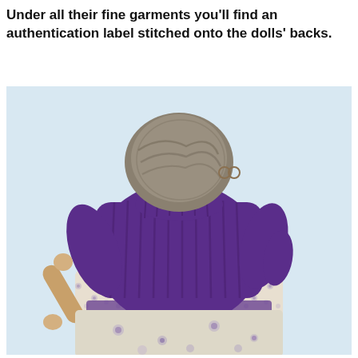Under all their fine garments you'll find an authentication label stitched onto the dolls' backs.
[Figure (photo): Back view of an elderly woman doll wearing a purple knitted sweater, a floral skirt, and gray hair styled in a bun. The doll has wooden cylindrical arms/hands and is posed against a light blue background.]